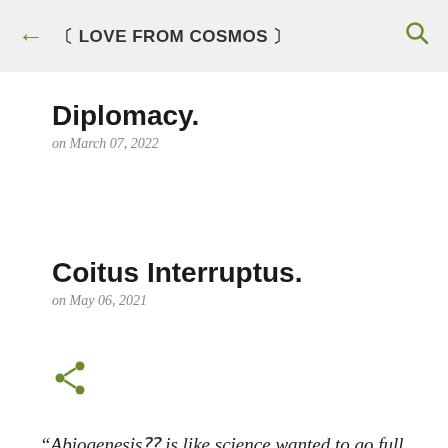← 〔 LOVE FROM COSMOS 〕 🔍
Diplomacy.
on March 07, 2022
Coitus Interruptus.
on May 06, 2021
[Figure (other): Share icon (green)]
“Abiogenesis⁇ is like science wanted to go full